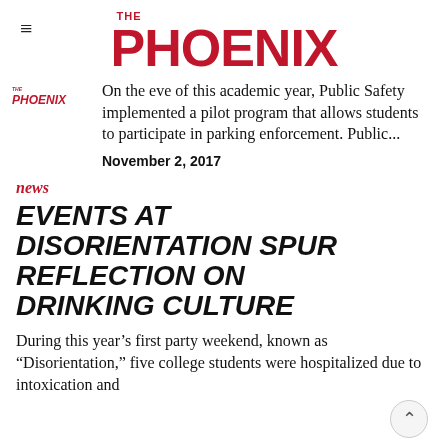THE PHOENIX
[Figure (logo): The Phoenix newspaper logo thumbnail/watermark in red]
On the eve of this academic year, Public Safety implemented a pilot program that allows students to participate in parking enforcement. Public...
November 2, 2017
news
EVENTS AT DISORIENTATION SPUR REFLECTION ON DRINKING CULTURE
During this year’s first party weekend, known as “Disorientation,” five college students were hospitalized due to intoxication and